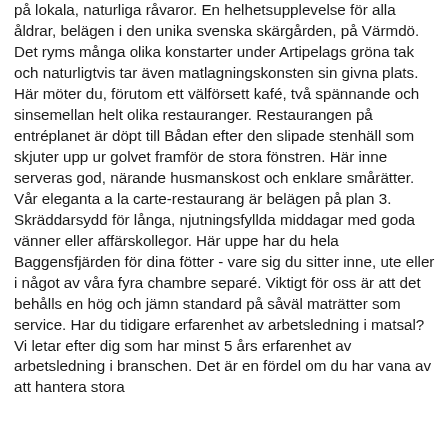på lokala, naturliga råvaror. En helhetsupplevelse för alla åldrar, belägen i den unika svenska skärgården, på Värmdö. Det ryms många olika konstarter under Artipelags gröna tak och naturligtvis tar även matlagningskonsten sin givna plats. Här möter du, förutom ett välförsett kafé, två spännande och sinsemellan helt olika restauranger. Restaurangen på entréplanet är döpt till Bådan efter den slipade stenhäll som skjuter upp ur golvet framför de stora fönstren. Här inne serveras god, närande husmanskost och enklare smårätter. Vår eleganta a la carte-restaurang är belägen på plan 3. Skräddarsydd för långa, njutningsfyllda middagar med goda vänner eller affärskollegor. Här uppe har du hela Baggensfjärden för dina fötter - vare sig du sitter inne, ute eller i något av våra fyra chambre separé. Viktigt för oss är att det behålls en hög och jämn standard på såväl maträtter som service. Har du tidigare erfarenhet av arbetsledning i matsal? Vi letar efter dig som har minst 5 års erfarenhet av arbetsledning i branschen. Det är en fördel om du har vana av att hantera stora